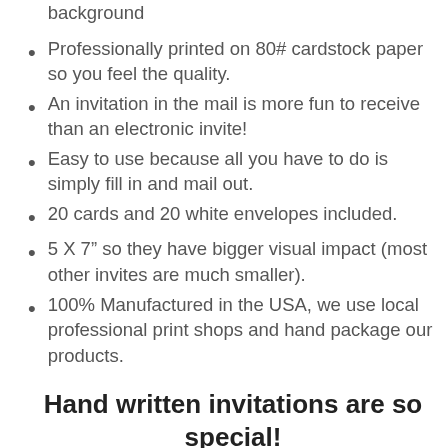background
Professionally printed on 80# cardstock paper so you feel the quality.
An invitation in the mail is more fun to receive than an electronic invite!
Easy to use because all you have to do is simply fill in and mail out.
20 cards and 20 white envelopes included.
5 X 7” so they have bigger visual impact (most other invites are much smaller).
100% Manufactured in the USA, we use local professional print shops and hand package our products.
Hand written invitations are so special!
You are going to love how quick and simple